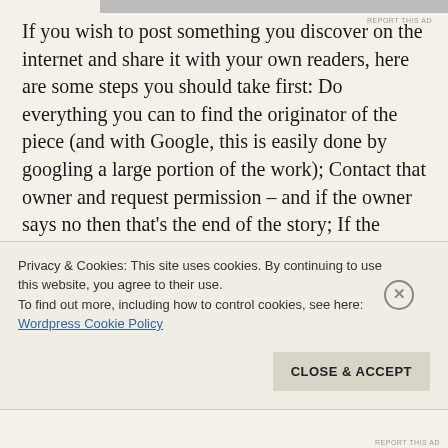If you wish to post something you discover on the internet and share it with your own readers, here are some steps you should take first: Do everything you can to find the originator of the piece (and with Google, this is easily done by googling a large portion of the work); Contact that owner and request permission – and if the owner says no then that's the end of the story; If the owner gives you permission, be sure that you include their name and the fact that you are posting with their
Privacy & Cookies: This site uses cookies. By continuing to use this website, you agree to their use.
To find out more, including how to control cookies, see here:
Wordpress Cookie Policy